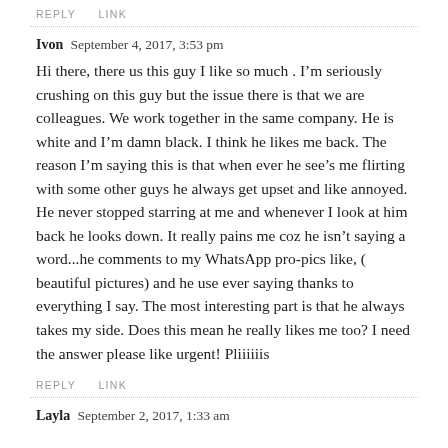REPLY   LINK
Ivon  September 4, 2017, 3:53 pm
Hi there, there us this guy I like so much . I’m seriously crushing on this guy but the issue there is that we are colleagues. We work together in the same company. He is white and I’m damn black. I think he likes me back. The reason I’m saying this is that when ever he see’s me flirting with some other guys he always get upset and like annoyed. He never stopped starring at me and whenever I look at him back he looks down. It really pains me coz he isn’t saying a word...he comments to my WhatsApp pro-pics like, ( beautiful pictures) and he use ever saying thanks to everything I say. The most interesting part is that he always takes my side. Does this mean he really likes me too? I need the answer please like urgent! Pliiiiiis
REPLY   LINK
Layla  September 2, 2017, 1:33 am